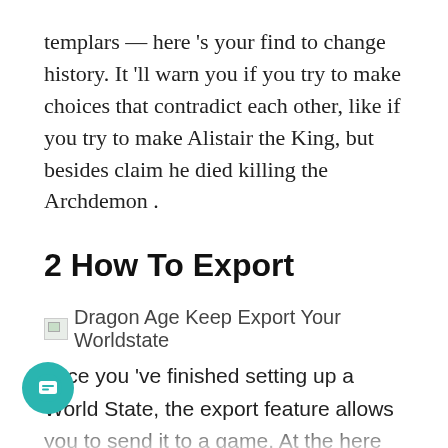templars — here 's your find to change history. It 'll warn you if you try to make choices that contradict each other, like if you try to make Alistair the King, but besides claim he died killing the Archdemon .
2 How To Export
[Figure (illustration): Broken image placeholder with alt text: Dragon Age Keep Export Your Worldstate]
once you 've finished setting up a World State, the export feature allows you to send it to a game. At the here and now, it 's equitable Dragon Age : inquisition. Test that everything 's set up the way you want it by sending your save to Inquisition. When it arrives, booting up the game and attempting to start a newly playthrough will prompt game to look for a file from the Keep. The Keep file will have a date associated with it, so you can check that you 're accessing the right World State.